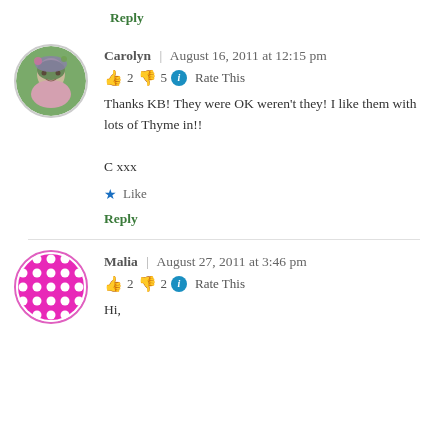Reply
Carolyn | August 16, 2011 at 12:15 pm
👍 2 👎 5 ℹ Rate This
Thanks KB! They were OK weren't they! I like them with lots of Thyme in!!

C xxx
★ Like
Reply
Malia | August 27, 2011 at 3:46 pm
👍 2 👎 2 ℹ Rate This
Hi,